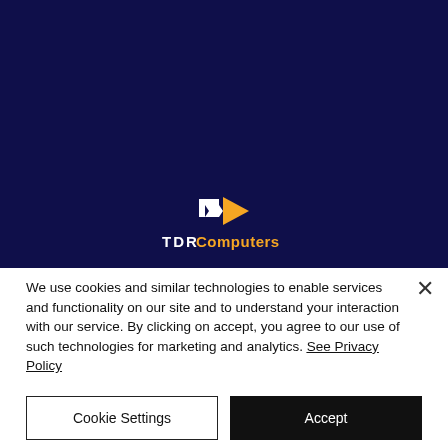[Figure (logo): TDR Computers logo: orange and white stylized 'R' arrow icon above the text 'TDR Computers' where 'TDR' is white and 'Computers' is orange, on a dark navy background.]
We use cookies and similar technologies to enable services and functionality on our site and to understand your interaction with our service. By clicking on accept, you agree to our use of such technologies for marketing and analytics. See Privacy Policy
Cookie Settings
Accept